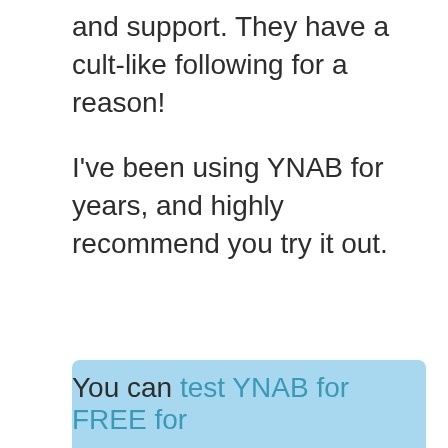and support. They have a cult-like following for a reason!

I've been using YNAB for years, and highly recommend you try it out.
You can test YNAB for FREE for